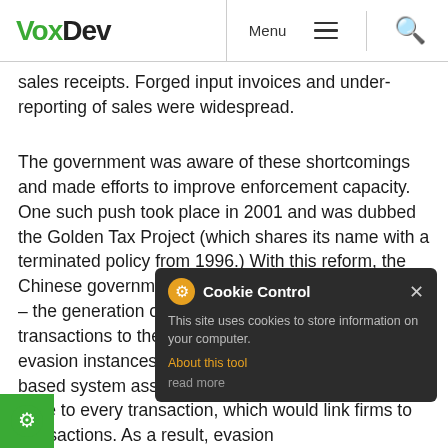VoxDev — Menu (hamburger) Search
sales receipts. Forged input invoices and under-reporting of sales were widespread.
The government was aware of these shortcomings and made efforts to improve enforcement capacity. One such push took place in 2001 and was dubbed the Golden Tax Project (which shares its name with a terminated policy from 1996.) With this reform, the Chinese government digitised the entire VAT process – the generation of invoices, the reporting of firm transactions to the tax offices, and the detection of evasion instances digitally. The new, computer-based system assigned a unique, encrypted 84-digit code to every transaction, which would link firms to transactions. As a result, evasion
[Figure (screenshot): Cookie Control popup overlay with dark background, showing gear icon, title 'Cookie Control', close X button, text 'This site uses cookies to store information on your computer.', orange link 'About this tool', and 'read more' text.]